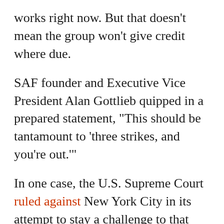works right now. But that doesn't mean the group won't give credit where due.
SAF founder and Executive Vice President Alan Gottlieb quipped in a prepared statement, “This should be tantamount to ‘three strikes, and you’re out.’”
In one case, the U.S. Supreme Court ruled against New York City in its attempt to stay a challenge to that city’s handgun law that prevents gun owners from taking their handguns outside of their homes or the city. The Court has already granted review of the case, which New York officials had tried to prevent because many people believe the high court will set a new Big Apple standard